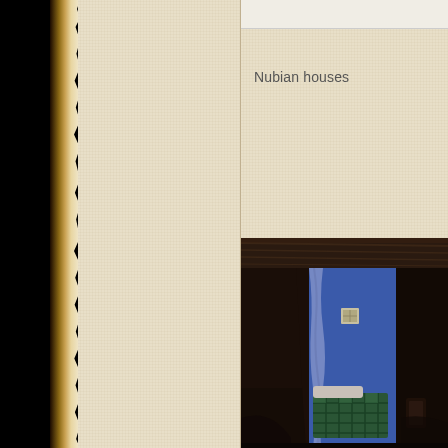Nubian houses
[Figure (photo): Interior of a Nubian house showing a blue-painted room visible through a dark doorway with a flowing curtain, and a bed with green plaid bedding inside the blue room. The ceiling is made of dark timber/thatch.]